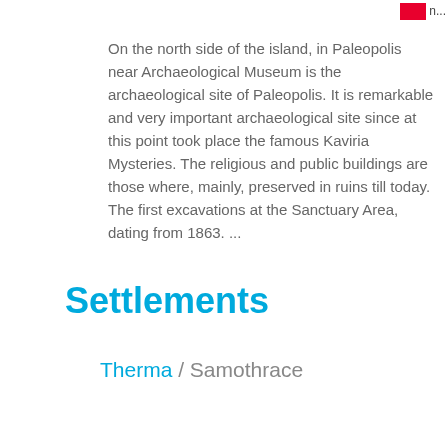On the north side of the island, in Paleopolis near Archaeological Museum is the archaeological site of Paleopolis. It is remarkable and very important archaeological site since at this point took place the famous Kaviria Mysteries. The religious and public buildings are those where, mainly, preserved in ruins till today. The first excavations at the Sanctuary Area, dating from 1863. ...
Read More
Settlements
Therma / Samothrace